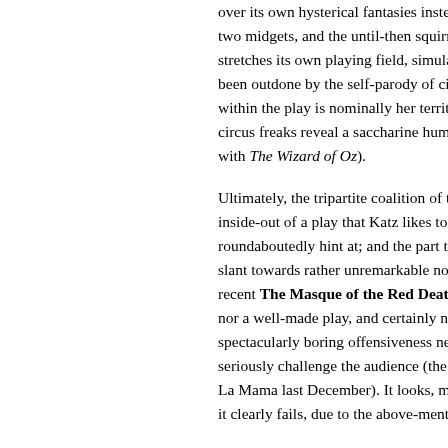over its own hysterical fantasies instead of two midgets, and the until-then squirmy h stretches its own playing field, simulatin been outdone by the self-parody of cinen within the play is nominally her territory, circus freaks reveal a saccharine human with The Wizard of Oz).
Ultimately, the tripartite coalition of ten inside-out of a play that Katz likes to wri roundaboutedly hint at; and the part that slant towards rather unremarkable nostal recent The Masque of the Red Death, it i nor a well-made play, and certainly n spectacularly boring offensiveness neithe seriously challenge the audience (the way La Mama last December). It looks, more it clearly fails, due to the above-mentione
These days, I rarely book myself into p Vaudeville Charlie Mudd, I had to apolog last time this happened was at the equ